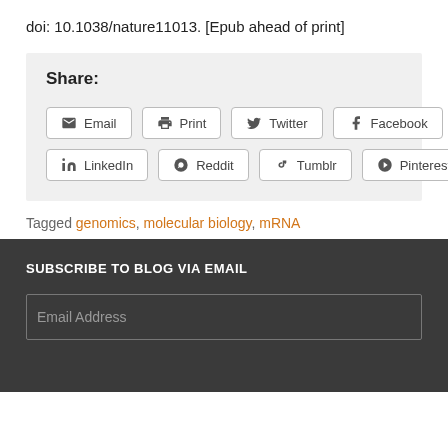doi: 10.1038/nature11013. [Epub ahead of print]
Share:
Email | Print | Twitter | Facebook | LinkedIn | Reddit | Tumblr | Pinterest
Tagged genomics, molecular biology, mRNA
SUBSCRIBE TO BLOG VIA EMAIL
Email Address